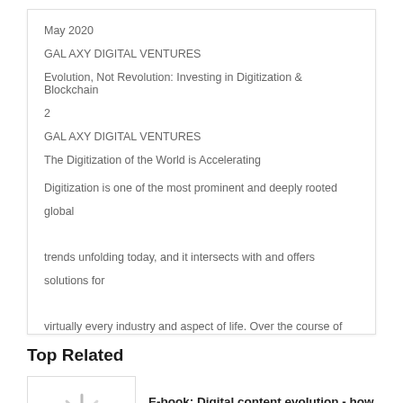May 2020
GAL AXY DIGITAL VENTURES
Evolution, Not Revolution: Investing in Digitization & Blockchain
2
GAL AXY DIGITAL VENTURES
The Digitization of the World is Accelerating
Digitization is one of the most prominent and deeply rooted global trends unfolding today, and it intersects with and offers solutions for virtually every industry and aspect of life. Over the course of several decades, this evolution has profoundly altered the way people work
Top Related
[Figure (illustration): Loading spinner icon thumbnail for related document]
E-book: Digital content evolution - how t...
Healthcare